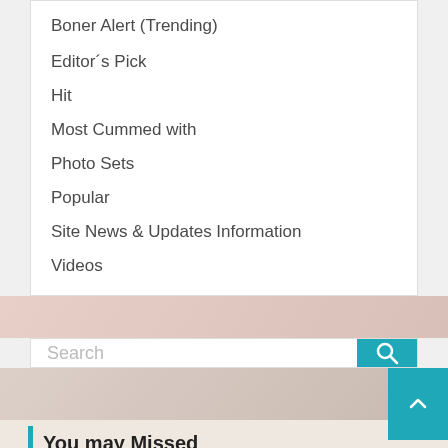Boner Alert (Trending)
Editor´s Pick
Hit
Most Cummed with
Photo Sets
Popular
Site News & Updates Information
Videos
[Figure (screenshot): Search bar with teal search button and magnifying glass icon]
You may Missed
Cookies help us deliver our services. By using our services, you agree to our use of cookies. Learn more Got it